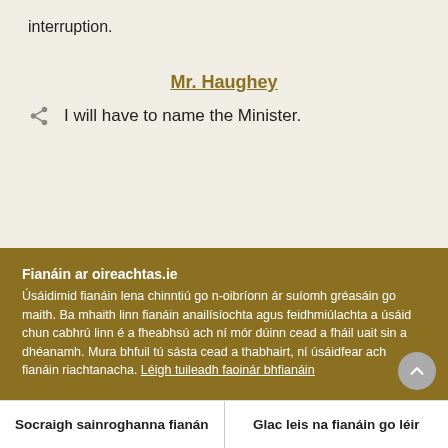interruption.
Mr. Haughey
I will have to name the Minister.
Fianáin ar oireachtas.ie
Úsáidimid fianáin lena chinntiú go n-oibríonn ár suíomh gréasáin go maith. Ba mhaith linn fianáin anailísíochta agus feidhmiúlachta a úsáid chun cabhrú linn é a fheabhsú ach ní mór dúinn cead a fháil uait sin a dhéanamh. Mura bhfuil tú sásta cead a thabhairt, ní úsáidfear ach fianáin riachtanacha. Léigh tuileadh faoinár bhfianáin
Socraigh sainroghanna fianán
Glac leis na fianáin go léir